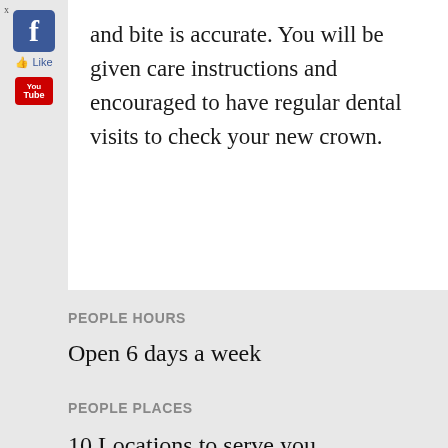[Figure (logo): Facebook logo icon with Like button and YouTube logo icon in sidebar]
and bite is accurate. You will be given care instructions and encouraged to have regular dental visits to check your new crown.
PEOPLE HOURS
Open 6 days a week
PEOPLE PLACES
10 Locations to serve you.
FREE PATIENT PARKING
PEOPLE PRICES